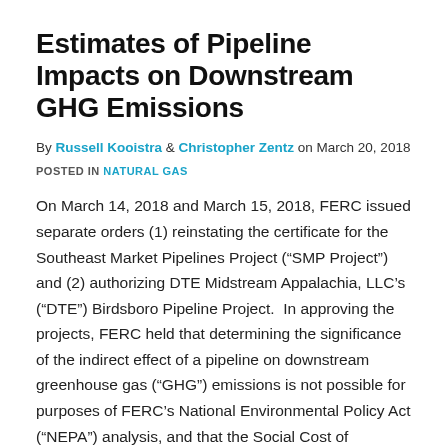Estimates of Pipeline Impacts on Downstream GHG Emissions
By Russell Kooistra & Christopher Zentz on March 20, 2018
POSTED IN NATURAL GAS
On March 14, 2018 and March 15, 2018, FERC issued separate orders (1) reinstating the certificate for the Southeast Market Pipelines Project (“SMP Project”) and (2) authorizing DTE Midstream Appalachia, LLC’s (“DTE”) Birdsboro Pipeline Project.  In approving the projects, FERC held that determining the significance of the indirect effect of a pipeline on downstream greenhouse gas (“GHG”) emissions is not possible for purposes of FERC’s National Environmental Policy Act (“NEPA”) analysis, and that the Social Cost of